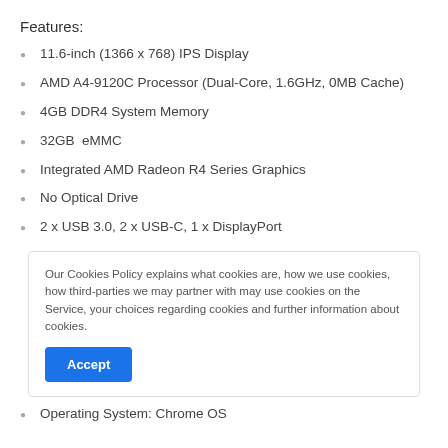Features:
11.6-inch (1366 x 768) IPS Display
AMD A4-9120C Processor (Dual-Core, 1.6GHz, 0MB Cache)
4GB DDR4 System Memory
32GB  eMMC
Integrated AMD Radeon R4 Series Graphics
No Optical Drive
2 x USB 3.0, 2 x USB-C, 1 x DisplayPort
Our Cookies Policy explains what cookies are, how we use cookies, how third-parties we may partner with may use cookies on the Service, your choices regarding cookies and further information about cookies.
Operating System: Chrome OS